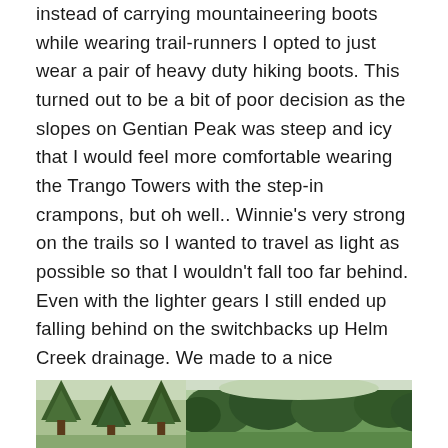instead of carrying mountaineering boots while wearing trail-runners I opted to just wear a pair of heavy duty hiking boots. This turned out to be a bit of poor decision as the slopes on Gentian Peak was steep and icy that I would feel more comfortable wearing the Trango Towers with the step-in crampons, but oh well.. Winnie's very strong on the trails so I wanted to travel as light as possible so that I wouldn't fall too far behind. Even with the lighter gears I still ended up falling behind on the switchbacks up Helm Creek drainage. We made to a nice viewpoint under the morning sunshine past Helm Campground in exactly 2 hours. I took over the lead for the next while, bailing the trail into the flat drainage heading for the toe of Helm Glacier. The absence of tracks and the requirement of route-finding did help slowing down our pace.
[Figure (photo): Two outdoor/nature photos side by side showing evergreen trees and forest scenery, partially cut off at bottom of page.]